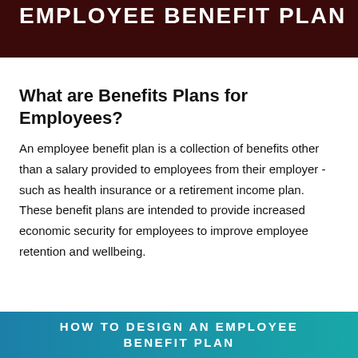EMPLOYEE BENEFIT PLAN
What are Benefits Plans for Employees?
An employee benefit plan is a collection of benefits other than a salary provided to employees from their employer - such as health insurance or a retirement income plan. These benefit plans are intended to provide increased economic security for employees to improve employee retention and wellbeing.
HOW TO DESIGN AN EMPLOYEE BENEFIT PLAN